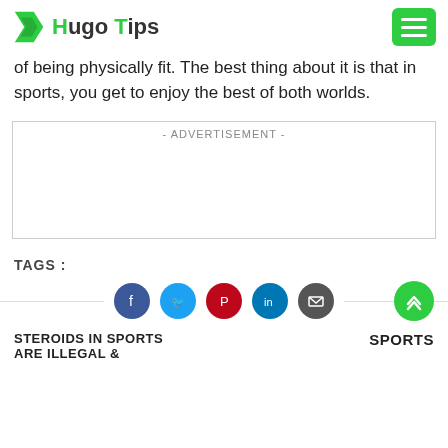Hugo Tips
of being physically fit. The best thing about it is that in sports, you get to enjoy the best of both worlds.
[Figure (other): Advertisement placeholder box with label '- ADVERTISEMENT -']
TAGS :
[Figure (infographic): Social share buttons: Facebook (blue), Twitter (light blue), Pinterest (red), LinkedIn (dark blue), Email (dark gray)]
STEROIDS IN SPORTS ARE ILLEGAL &
SPORTS